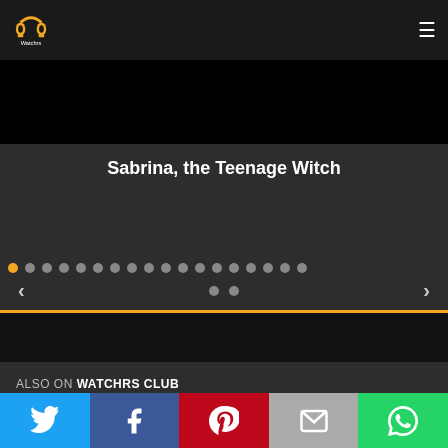[Figure (logo): Watchrs logo - orange headphone/controller icon with 'Watchrs' text below]
[Figure (screenshot): Dark slider/carousel showing 'Sabrina, the Teenage Witch' title card with navigation dots and arrows. Black video area at top, title text in white on dark gray background, pagination dots row, left/right navigation arrows, and two additional dots below center.]
ALSO ON WATCHRS CLUB
[Figure (other): Social sharing bar with Twitter (blue), Facebook (dark blue), Pinterest (red), Email (gray), WhatsApp (green) buttons]